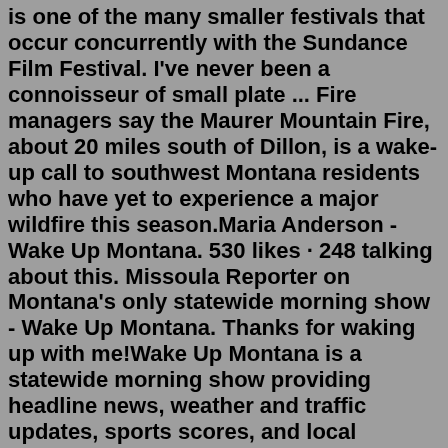is one of the many smaller festivals that occur concurrently with the Sundance Film Festival. I've never been a connoisseur of small plate ... Fire managers say the Maurer Mountain Fire, about 20 miles south of Dillon, is a wake-up call to southwest Montana residents who have yet to experience a major wildfire this season.Maria Anderson - Wake Up Montana. 530 likes · 248 talking about this. Missoula Reporter on Montana's only statewide morning show - Wake Up Montana. Thanks for waking up with me!Wake Up Montana is a statewide morning show providing headline news, weather and traffic updates, sports scores, and local lifestyle and news reporting for residents of the Big Sky state. Audience Female 50%; Male 50%; Ad Placement Morning Dose on the CW 39 ...Jul 16, 2022 · Six people have died after a dust storm fueled by wind gusts topping 60 mph caused a pileup Friday evening on Interstate 90 in Montana, authorities said. Twenty-one vehicles crashed and Montana Highway Patrol Sgt. Jay Nelson said authorities believe the weather was the cause. "It